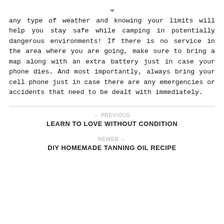[Figure (other): Downward chevron/arrow icon]
any type of weather and knowing your limits will help you stay safe while camping in potentially dangerous environments! If there is no service in the area where you are going, make sure to bring a map along with an extra battery just in case your phone dies. And most importantly, always bring your cell phone just in case there are any emergencies or accidents that need to be dealt with immediately.
← PREVIOUS
LEARN TO LOVE WITHOUT CONDITION
NEWER →
DIY HOMEMADE TANNING OIL RECIPE